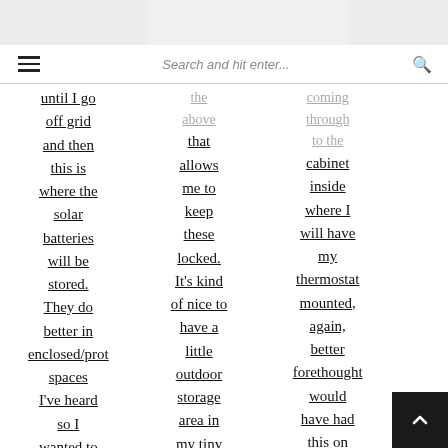Search and hit enter...
until I go off grid and then this is where the solar batteries will be stored. They do better in enclosed/prot spaces I've heard so I wanted to
the above that allows me to keep these locked. It's kind of nice to have a little outdoor storage area in my tiny house for garden
coming through to the cabinet inside where I will have my thermostat mounted, again, better forethought would have had this on the wall near outside